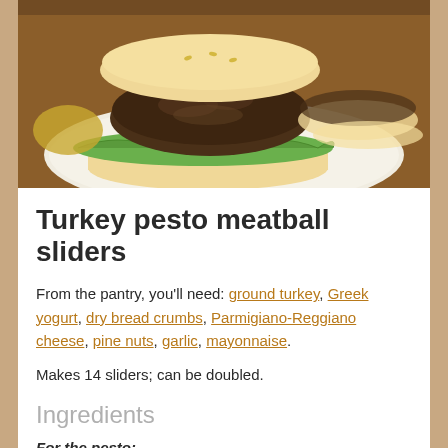[Figure (photo): A turkey pesto meatball slider on a white plate, showing a meatball patty with green lettuce on a white bun, with other sliders visible in the background on a wooden surface.]
Turkey pesto meatball sliders
From the pantry, you'll need: ground turkey, Greek yogurt, dry bread crumbs, Parmigiano-Reggiano cheese, pine nuts, garlic, mayonnaise.
Makes 14 sliders; can be doubled.
Ingredients
For the pesto:
2 cups fresh basil leaves